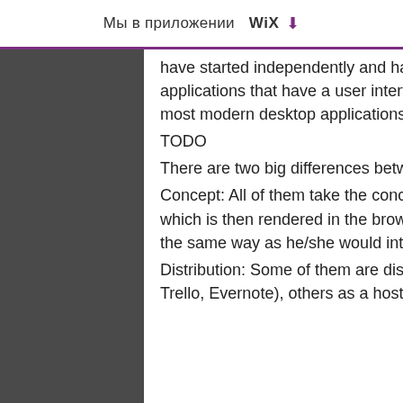Мы в приложении  WiX  ⬇
have started independently and have similar goals. They all aim at creating applications that have a user interface (UI) with elements that would be found in most modern desktop applications.
TODO
There are two big differences between these projects:
Concept: All of them take the concept of a web application from the server-side, which is then rendered in the browser. The user can interact with the rendered UI in the same way as he/she would interact with a desktop application
Distribution: Some of them are distributed as a single package (e.g. Google Docs, Trello, Evernote), others as a host application (e.g. Google Drive, Trello)